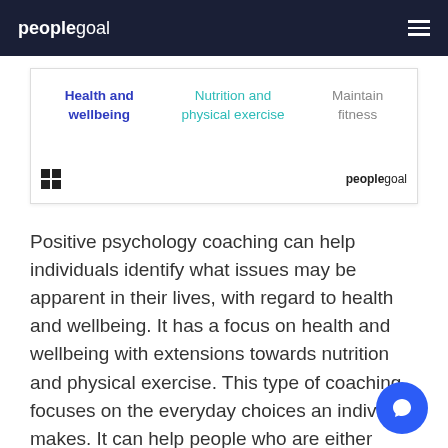peoplegoal
| Health and wellbeing | Nutrition and physical exercise | Maintain fitness |
| --- | --- | --- |
Positive psychology coaching can help individuals identify what issues may be apparent in their lives, with regard to health and wellbeing. It has a focus on health and wellbeing with extensions towards nutrition and physical exercise. This type of coaching focuses on the everyday choices an individual makes. It can help people who are either generally healthy, that is, promotion and prevention, or suffering from some level of recognized illness or disease, that is, management.